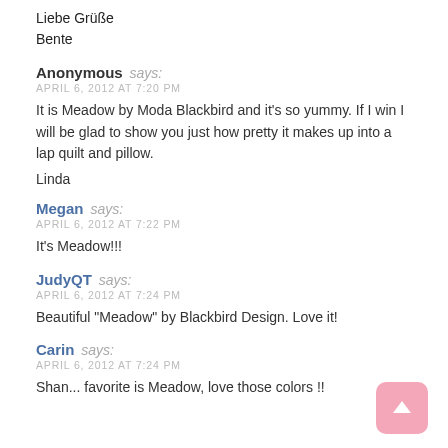Liebe Grüße
Bente
Anonymous says:
APRIL 6, 2012 AT 7:20 PM
It is Meadow by Moda Blackbird and it's so yummy. If I win I will be glad to show you just how pretty it makes up into a lap quilt and pillow.

Linda
Megan says:
APRIL 6, 2012 AT 7:22 PM
It's Meadow!!!
JudyQT says:
APRIL 6, 2012 AT 7:24 PM
Beautiful "Meadow" by Blackbird Design. Love it!
Carin says:
APRIL 6, 2012 AT 7:24 PM
Shan... favorite is Meadow, love those colors !!